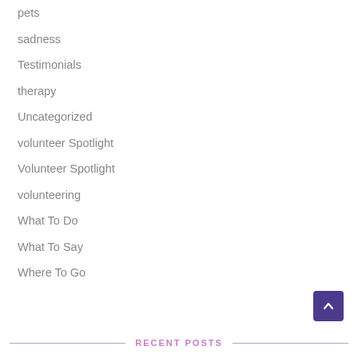pets
sadness
Testimonials
therapy
Uncategorized
volunteer Spotlight
Volunteer Spotlight
volunteering
What To Do
What To Say
Where To Go
RECENT POSTS